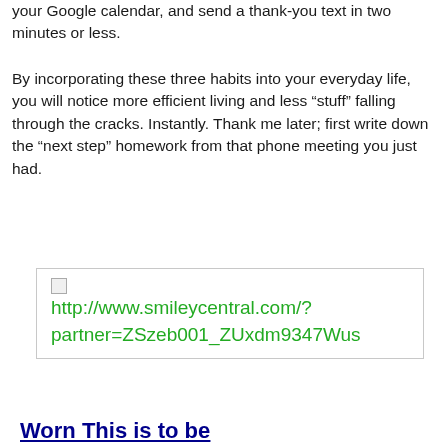your Google calendar, and send a thank-you text in two minutes or less.
By incorporating these three habits into your everyday life, you will notice more efficient living and less “stuff” falling through the cracks. Instantly. Thank me later; first write down the “next step” homework from that phone meeting you just had.
[Figure (other): Broken image placeholder showing URL: http://www.smileycentral.com/?partner=ZSzeb001_ZUxdm9347Wus]
Worn This is to be